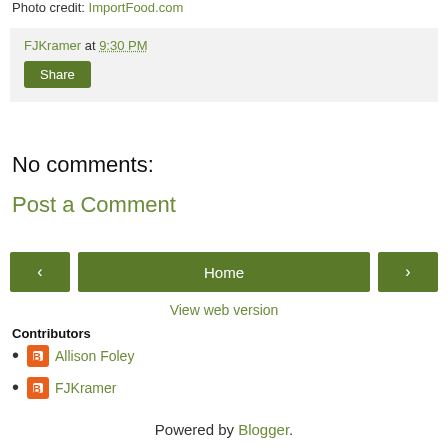Photo credit: ImportFood.com
FJKramer at 9:30 PM
Share
No comments:
Post a Comment
[Figure (other): Navigation buttons: left arrow, Home, right arrow]
View web version
Contributors
Allison Foley
FJKramer
Powered by Blogger.